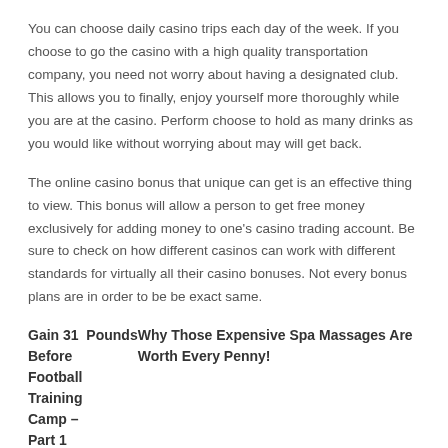You can choose daily casino trips each day of the week. If you choose to go the casino with a high quality transportation company, you need not worry about having a designated club. This allows you to finally, enjoy yourself more thoroughly while you are at the casino. Perform choose to hold as many drinks as you would like without worrying about may will get back.
The online casino bonus that unique can get is an effective thing to view. This bonus will allow a person to get free money exclusively for adding money to one's casino trading account. Be sure to check on how different casinos can work with different standards for virtually all their casino bonuses. Not every bonus plans are in order to be be exact same.
Gain 31 Pounds Before Football Training Camp – Part 1   Why Those Expensive Spa Massages Are Worth Every Penny!